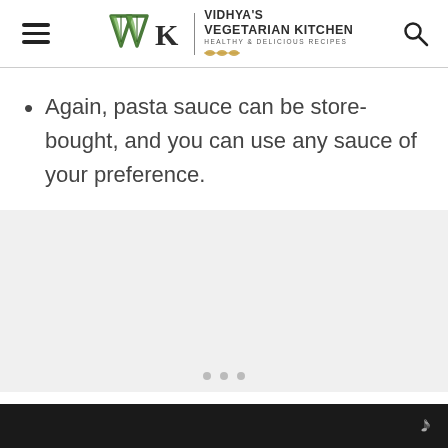Vidhya's Vegetarian Kitchen — Healthy & Delicious Recipes
Again, pasta sauce can be store-bought, and you can use any sauce of your preference.
[Figure (other): Ad or image placeholder area with three dots at the bottom]
ш°